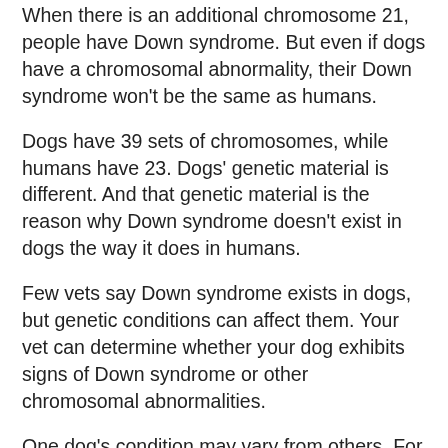When there is an additional chromosome 21, people have Down syndrome. But even if dogs have a chromosomal abnormality, their Down syndrome won't be the same as humans.
Dogs have 39 sets of chromosomes, while humans have 23. Dogs' genetic material is different. And that genetic material is the reason why Down syndrome doesn't exist in dogs the way it does in humans.
Few vets say Down syndrome exists in dogs, but genetic conditions can affect them. Your vet can determine whether your dog exhibits signs of Down syndrome or other chromosomal abnormalities.
One dog's condition may vary from others. For example, some dogs with chromosomal abnormalities may have pituitary dwarfism, while others have unusual physical features. Some may have poor eyesight, a short neck, or a small head, while others